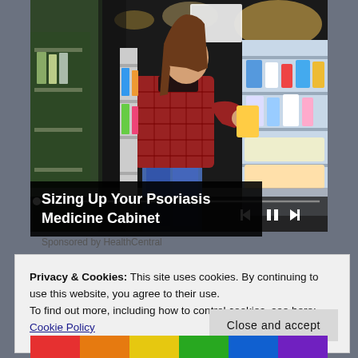[Figure (photo): A woman in a red plaid shirt shopping in a pharmacy/drugstore aisle, reading a product label from a shelf. Store shelves with products are visible in the background. Video player controls (skip back, pause, skip forward) and a progress bar are overlaid at the bottom of the image.]
Sizing Up Your Psoriasis Medicine Cabinet
Sponsored by HealthCentral
Privacy & Cookies: This site uses cookies. By continuing to use this website, you agree to their use.
To find out more, including how to control cookies, see here: Cookie Policy